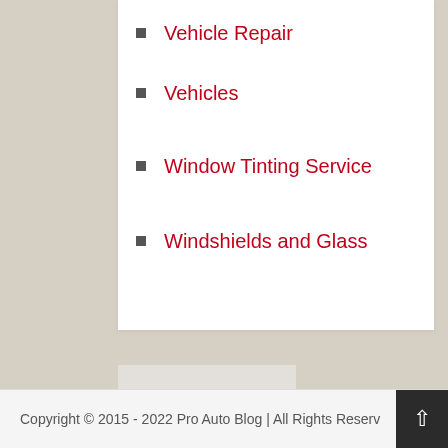Vehicle Repair
Vehicles
Window Tinting Service
Windshields and Glass
[Figure (photo): Headshot of a young man in a grey suit smiling, professional portrait]
+Eric Spence
Copyright © 2015 - 2022 Pro Auto Blog | All Rights Reserv...